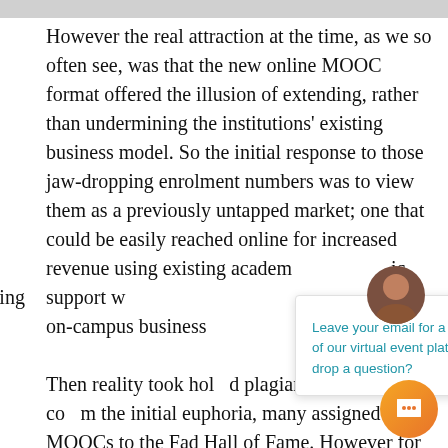However the real attraction at the time, as we so often see, was that the new online MOOC format offered the illusion of extending, rather than undermining the institutions' existing business model. So the initial response to those jaw-dropping enrolment numbers was to view them as a previously untapped market; one that could be easily reached online for increased revenue using existing academic support w continuing on-campus business
Then reality took hol plagiarism and low c the initial euphoria, many assigned MOOCs to the Fad Hall of Fame. However for all the hype and belated cynicism, what is evident is that it w another example of our tendency to overesti the significance of innovations in the short term